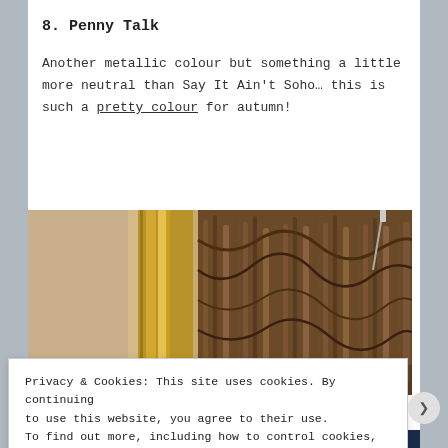8. Penny Talk
Another metallic colour but something a little more neutral than Say It Ain't Soho… this is such a pretty colour for autumn!
[Figure (photo): Close-up photograph showing metallic gold and brown textures, possibly nail polish or decorative items with warm autumn tones]
Privacy & Cookies: This site uses cookies. By continuing to use this website, you agree to their use. To find out more, including how to control cookies, see here: Cookie Policy
Close and accept